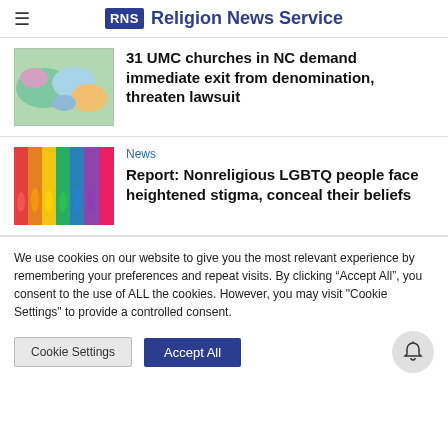RNS Religion News Service
[Figure (photo): Thumbnail map graphic showing geographic regions in color]
31 UMC churches in NC demand immediate exit from denomination, threaten lawsuit
News
[Figure (photo): Colorful figurines or teddy bears arranged in rainbow colors on a shelf]
Report: Nonreligious LGBTQ people face heightened stigma, conceal their beliefs
We use cookies on our website to give you the most relevant experience by remembering your preferences and repeat visits. By clicking “Accept All”, you consent to the use of ALL the cookies. However, you may visit "Cookie Settings" to provide a controlled consent.